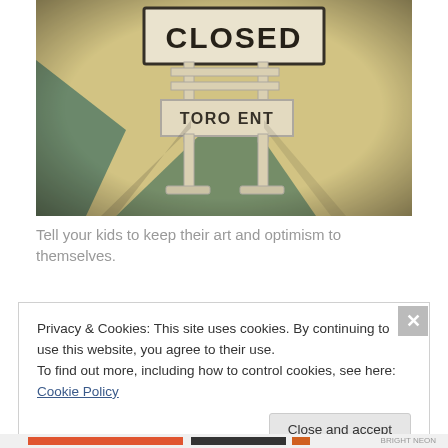[Figure (photo): A vintage-toned photograph of a road closed sign reading 'CLOSED' on a white barricade stand with a lower board reading 'TORO ENT', set on a sidewalk with teal/green painted stripes.]
Tell your kids to keep their art and optimism to themselves.
Privacy & Cookies: This site uses cookies. By continuing to use this website, you agree to their use.
To find out more, including how to control cookies, see here: Cookie Policy
Close and accept